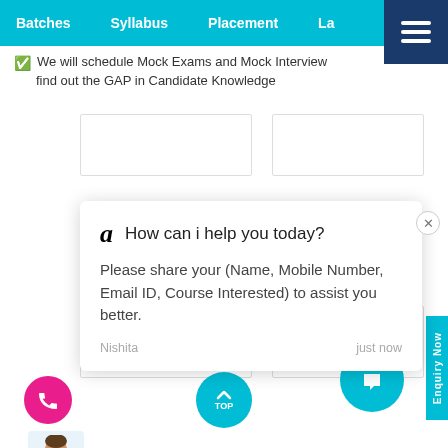Batches  Syllabus  Placement  La...
We will schedule Mock Exams and Mock Interviews find out the GAP in Candidate Knowledge
[Figure (screenshot): Chat popup with Amazon 'a' logo, message 'How can i help you today?' and 'Please share your (Name, Mobile Number, Email ID, Course Interested) to assist you better.' from Nishita, just now]
Nishita   just now